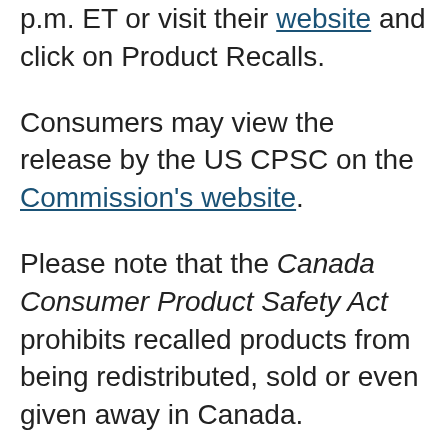p.m. ET or visit their website and click on Product Recalls.
Consumers may view the release by the US CPSC on the Commission's website.
Please note that the Canada Consumer Product Safety Act prohibits recalled products from being redistributed, sold or even given away in Canada.
Health Canada would like to remind Canadians to report any health or safety incidents related to the use of this product or any other consumer product or cosmetic by filling out the Consumer Product